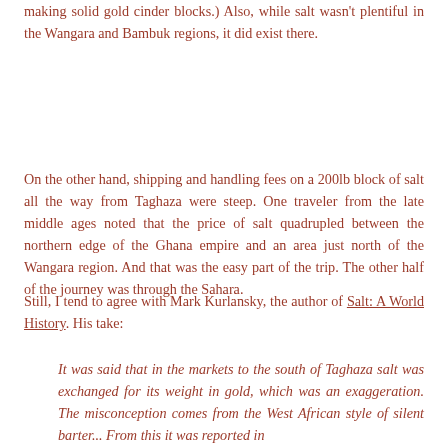making solid gold cinder blocks.)  Also, while salt wasn't plentiful in the Wangara and Bambuk regions, it did exist there.
On the other hand, shipping and handling fees on a 200lb block of salt all the way from Taghaza were steep.  One traveler from the late middle ages noted that the price of salt quadrupled between the northern edge of the Ghana empire and an area just north of the Wangara region.  And that was the easy part of the trip.  The other half of the journey was through the Sahara.
Still, I tend to agree with Mark Kurlansky, the author of Salt: A World History.  His take:
It was said that in the markets to the south of Taghaza salt was exchanged for its weight in gold, which was an exaggeration.  The misconception comes from the West African style of silent barter...  From this it was reported in